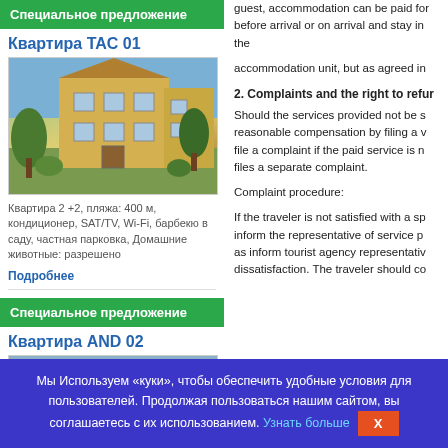Специальное предложение
Квартира TAC 01
[Figure (photo): Photo of an apartment building with trees and garden]
Квартира 2 +2, пляжа: 400 м, кондиционер, SAT/TV, Wi-Fi, барбекю в саду, частная парковка, Домашние животные: разрешено
Подробнее
Специальное предложение
Квартира AND 02
[Figure (photo): Photo of apartment AND 02 building]
guest, accommodation can be paid for before arrival or on arrival and stay in the accommodation unit, but as agreed in
2. Complaints and the right to refur
Should the services provided not be s reasonable compensation by filing a v file a complaint if the paid service is n files a separate complaint.
Complaint procedure:
If the traveler is not satisfied with a sp inform the representative of service p as inform tourist agency representativ dissatisfaction. The traveler should co
Мы Используем «куки», чтобы обеспечить удобные условия для пользователей. Продолжая пользоваться нашим сайтом, вы соглашаетесь с их использованием. Узнать больше X